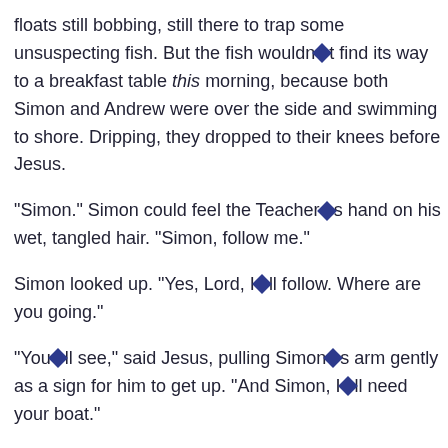floats still bobbing, still there to trap some unsuspecting fish. But the fish wouldn◆t find its way to a breakfast table this morning, because both Simon and Andrew were over the side and swimming to shore. Dripping, they dropped to their knees before Jesus.
“Simon.” Simon could feel the Teacher◆s hand on his wet, tangled hair. “Simon, follow me.”
Simon looked up. “Yes, Lord, I◆ll follow. Where are you going.”
“You◆ll see,” said Jesus, pulling Simon◆s arm gently as a sign for him to get up. “And Simon, I◆ll need your boat.”
His brand new boat, pride of the town fleet? What did Jes want with the boat? Simon looked up. “Sure, you can use it”